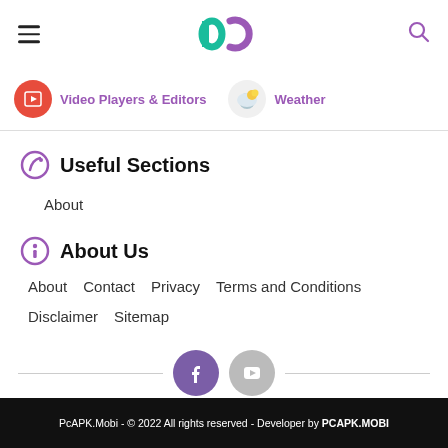PC logo header with hamburger menu and search icon
Video Players & Editors
Weather
Useful Sections
About
About Us
About
Contact
Privacy
Terms and Conditions
Disclaimer
Sitemap
PcAPK.Mobi - © 2022 All rights reserved - Developer by PCAPK.MOBI